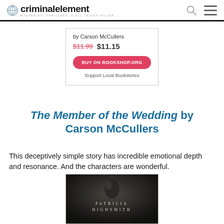criminalelement — MYSTERIES, THRILLERS, & ALL THINGS KILLER...
by Carson McCullers
$11.99  $11.15
BUY ON BOOKSHOP.ORG
Support Local Bookstores
The Member of the Wedding by Carson McCullers
This deceptively simple story has incredible emotional depth and resonance. And the characters are wonderful.
[Figure (photo): Book cover for Patricia Highsmith novel, dark background with author name in spaced letters]